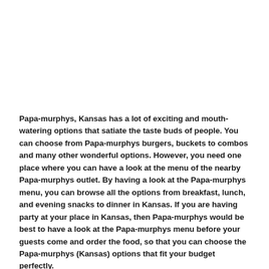Papa-murphys, Kansas has a lot of exciting and mouth-watering options that satiate the taste buds of people. You can choose from Papa-murphys burgers, buckets to combos and many other wonderful options. However, you need one place where you can have a look at the menu of the nearby Papa-murphys outlet. By having a look at the Papa-murphys menu, you can browse all the options from breakfast, lunch, and evening snacks to dinner in Kansas. If you are having party at your place in Kansas, then Papa-murphys would be best to have a look at the Papa-murphys menu before your guests come and order the food, so that you can choose the Papa-murphys (Kansas) options that fit your budget perfectly.